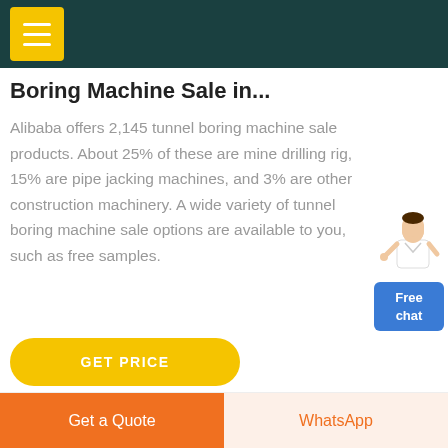[Navigation menu bar with hamburger icon]
Boring Machine Sale in...
Alibaba offers 2,145 tunnel boring machine sale products. About 25% of these are mine drilling rig, 15% are pipe jacking machines, and 3% are other construction machinery. A wide variety of tunnel boring machine sale options are available to you, such as free samples.
[Figure (illustration): Customer service representative avatar next to a blue 'Free chat' button]
GET PRICE
Get a Quote | WhatsApp